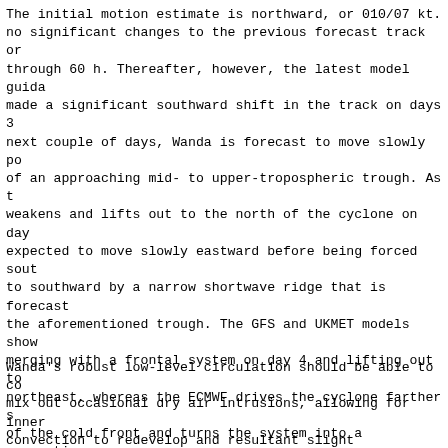The initial motion estimate is northward, or 010/07 kt. no significant changes to the previous forecast track or through 60 h. Thereafter, however, the latest model guida made a significant southward shift in the track on days 3 next couple of days, Wanda is forecast to move slowly po of an approaching mid- to upper-tropospheric trough. As t weakens and lifts out to the north of the cyclone on day expected to move slowly eastward before being forced sout to southward by a narrow shortwave ridge that is forecast the aforementioned trough. The GFS and UKMET models show merging with a frontal system on day 4 and lifting out to northeast, whereas the ECMWF drives the cyclone farther s of the cold front and turns the system into a  convective post-tropical cyclone on day 5. For now, the official tra remains similar to the previous advisory track through 60 then shows Wanda turning sharply southeastward on day 4, well to the right of the previous forecast track. The cyc then forecast to lift out to the northeast on day 5 as an extratropical low pressure system after merging with a co The official forecast track is similar to the tightly pac consensus models through 60 h, and then is to the left of the consensus aids in the 72-120-h period. There is lower-than-normal confidence in the forecast track after to the major difference between the GFS and ECMWF model s
Wanda's robust low-level circulation should be able to co mix out occasional dry air intrusions, allowing for inner convection to redevelop and resultant slight strengthenin during the next 24-48 h. However, if a band of moderate c ends up developing around the aforementioned eye-like fea